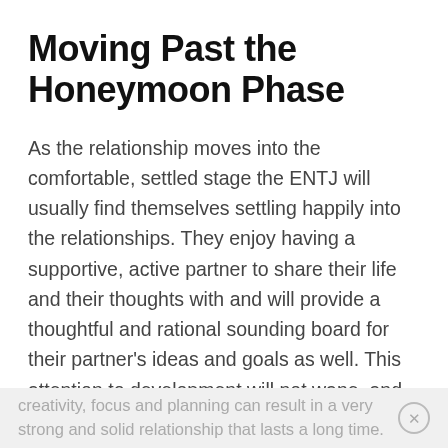Moving Past the Honeymoon Phase
As the relationship moves into the comfortable, settled stage the ENTJ will usually find themselves settling happily into the relationships. They enjoy having a supportive, active partner to share their life and their thoughts with and will provide a thoughtful and rational sounding board for their partner's ideas and goals as well. This attention to development will not wane, and ENTJs often apply this to their relationship as well. They will constantly work hard to make it better and stronger, usually in creative and imaginative ways that are well thought out and meticulously planned. And this combination of
creativity, focus and planning can result in a very strong and solid relationship that lasts a long time.